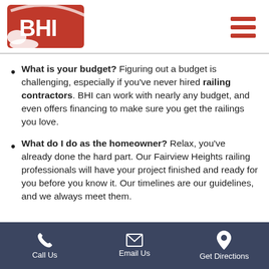[Figure (logo): BHI company logo — red background with white letters BHI and a swoosh, on white header with hamburger menu icon in red on the right]
What is your budget? Figuring out a budget is challenging, especially if you've never hired railing contractors. BHI can work with nearly any budget, and even offers financing to make sure you get the railings you love.
What do I do as the homeowner? Relax, you've already done the hard part. Our Fairview Heights railing professionals will have your project finished and ready for you before you know it. Our timelines are our guidelines, and we always meet them.
Call Us   Email Us   Get Directions